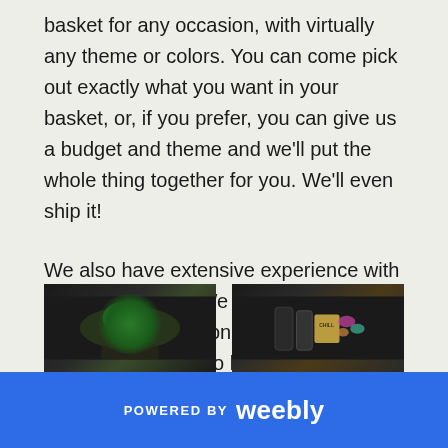basket for any occasion, with virtually any theme or colors. You can come pick out exactly what you want in your basket, or, if you prefer, you can give us a budget and theme and we'll put the whole thing together for you. We'll even ship it!
We also have extensive experience with corporate gifting. We can use your business's promotional products, ribbon, and color scheme to build the perfect gift basket to promote your company to clients and business partners.
[Figure (photo): Photo of a gift basket with a large green bow/ribbon on dark background]
[Figure (photo): Photo of a gift basket with bottles and flowers, including a 'Chill' labeled item]
POWERED BY weebly